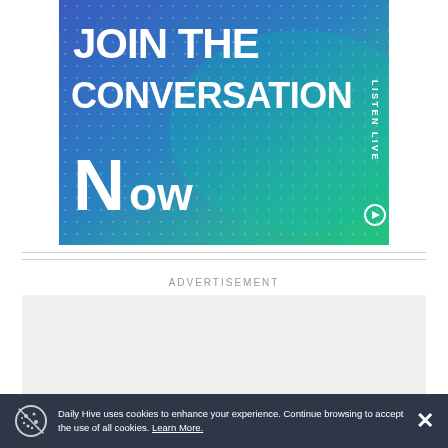[Figure (illustration): Promotional banner with gradient blue-to-green background with dot pattern overlay. Text reads 'JOIN THE CONVERSATION' in large white bold uppercase letters. Bottom left shows 'Now' in large white text. Right side has vertical text 'LISTEN LIVE' with a circular play icon.]
ADVERTISEMENT
[Figure (other): Empty light gray advertisement placeholder rectangle.]
Daily Hive uses cookies to enhance your experience. Continue browsing to accept the use of all cookies. Learn More.